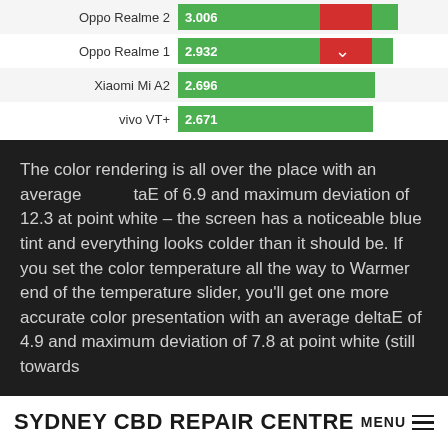[Figure (bar-chart): Comparison chart]
The color rendering is all over the place with an average deltaE of 6.9 and maximum deviation of 12.3 at point white – the screen has a noticeable blue tint and everything looks colder than it should be. If you set the color temperature all the way to Warmer end of the temperature slider, you'll get one more accurate color presentation with an average deltaE of 4.9 and maximum deviation of 7.8 at point white (still towards
SYDNEY CBD REPAIR CENTRE  MENU ≡